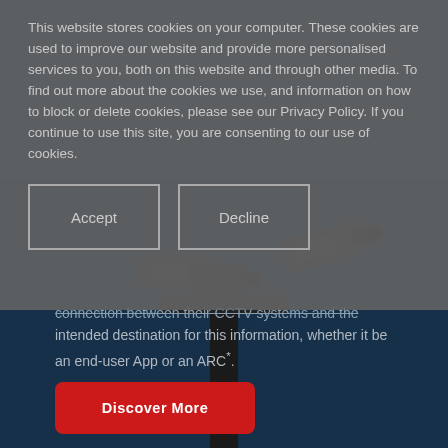[Figure (photo): Dark navy blue background with CCTV security cameras mounted on a pole, visible in lower portion of the page behind a semi-transparent cookie consent overlay]
This website stores cookies on your computer. These cookies are used to improve our website and provide more personalised services to you, both on this website and through other media. To find out more about the cookies we use, and information on how to block or delete cookies, please see our Privacy Policy. If you continue to use this site, you are consenting to our use of cookies.
Accept
Decline
connection between their CCTV systems and the intended destination for this information, whether it be an end-user App or an ARC*.
Discover More